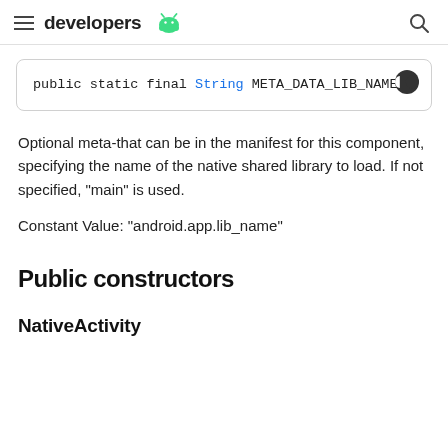developers
public static final String META_DATA_LIB_NAME
Optional meta-that can be in the manifest for this component, specifying the name of the native shared library to load. If not specified, "main" is used.
Constant Value: "android.app.lib_name"
Public constructors
NativeActivity